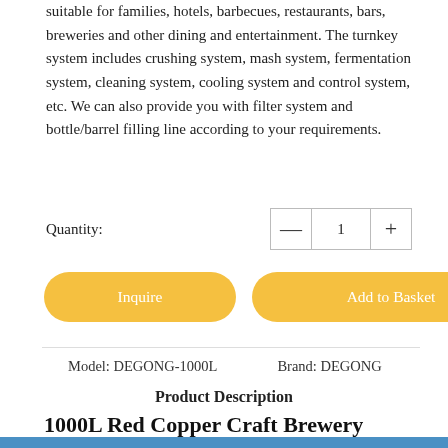suitable for families, hotels, barbecues, restaurants, bars, breweries and other dining and entertainment. The turnkey system includes crushing system, mash system, fermentation system, cleaning system, cooling system and control system, etc. We can also provide you with filter system and bottle/barrel filling line according to your requirements.
Quantity: 1
Inquire   Add to Basket
Model: DEGONG-1000L    Brand: DEGONG
Product Description
1000L Red Copper Craft Brewery